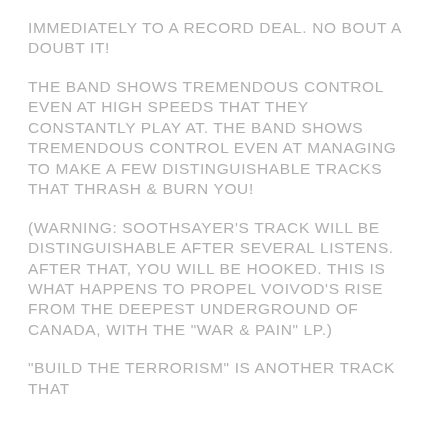immediately to a record deal. No bout a doubt it!
The band shows tremendous control even at high speeds that they constantly play at. The band shows tremendous control even at managing to make a few distinguishable tracks that thrash & burn you!
(Warning: Soothsayer's track will be distinguishable after several listens. After that, you will be hooked. This is what happens to propel Voivod's rise from the deepest underground of Canada, with the "War & Pain" LP.)
"Build The Terrorism" is another track that